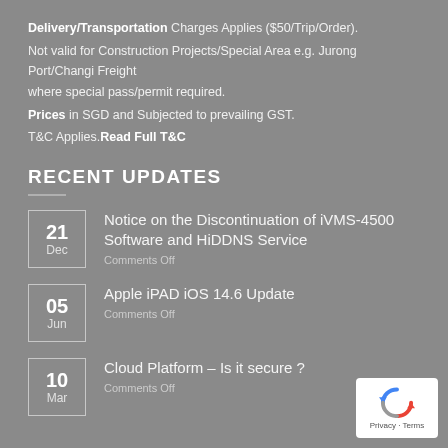Delivery/Transportation Charges Applies ($50/Trip/Order).
Not valid for Construction Projects/Special Area e.g. Jurong Port/Changi Freight where special pass/permit required.
Prices in SGD and Subjected to prevailing GST.
T&C Applies. Read Full T&C
RECENT UPDATES
21 Dec — Notice on the Discontinuation of iVMS-4500 Software and HiDDNS Service — Comments Off
05 Jun — Apple iPAD iOS 14.6 Update — Comments Off
10 Mar — Cloud Platform – Is it secure ? — Comments Off